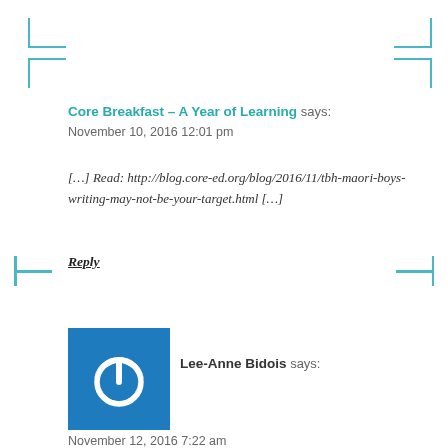Core Breakfast – A Year of Learning says:
November 10, 2016 12:01 pm
[…] Read: http://blog.core-ed.org/blog/2016/11/tbh-maori-boys-writing-may-not-be-your-target.html […]
Reply
[Figure (illustration): Blue square avatar with white power button icon for user Lee-Anne Bidois]
Lee-Anne Bidois says:
November 12, 2016 7:22 am
What a fantastic blog…we should ask Te Mihinga Komene for a Te Reo equivalent… I'm sharing with our maori student achievement team…